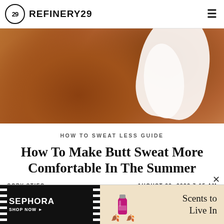REFINERY29
[Figure (photo): Close-up photo of a person's buttocks in white underwear/bikini bottom against brown skin background]
HOW TO SWEAT LESS GUIDE
How To Make Butt Sweat More Comfortable In The Summer
CORY STIEG                AUGUST 23, 2022 7:15 AM
[Figure (advertisement): Sephora advertisement banner with text 'Scents to Live In' and perfume bottle image]